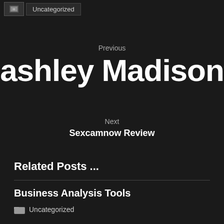[Figure (other): Thumbnail image placeholder with folder icon and Uncategorized tag]
Previous
ashley Madison
Next
Sexcamnow Review
Related Posts ...
Business Analysis Tools
Uncategorized